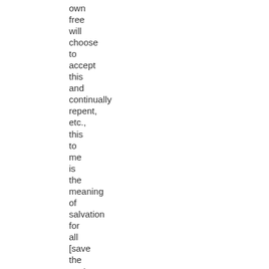own free will choose to accept this and continually repent, etc., this to me is the meaning of salvation for all [save the son's of perdition]– so